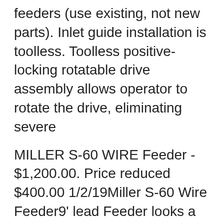feeders (use existing, not new parts). Inlet guide installation is toolless. Toolless positive-locking rotatable drive assembly allows operator to rotate the drive, eliminating severe
MILLER S-60 WIRE Feeder - $1,200.00. Price reduced $400.00 1/2/19Miller S-60 Wire Feeder9' lead Feeder looks a little rough but has a lot of options. This item was removed from our welding shop when we upgraded to new equipment. 302393500573 25/03/2014B B· Miller CP-252TS CV DC Welder Welding for wire feeder mig arc BayLineTool And Equipment. Loading... Unsubscribe from BayLineTool And Equipment? Cancel Unsubscribe. Working... Subscribe